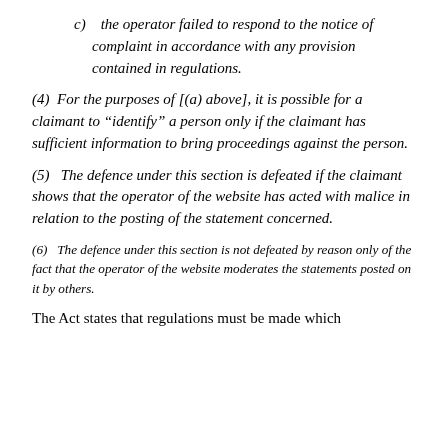c)    the operator failed to respond to the notice of complaint in accordance with any provision contained in regulations.
(4)  For the purposes of [(a) above], it is possible for a claimant to "identify" a person only if the claimant has sufficient information to bring proceedings against the person.
(5)   The defence under this section is defeated if the claimant shows that the operator of the website has acted with malice in relation to the posting of the statement concerned.
(6)   The defence under this section is not defeated by reason only of the fact that the operator of the website moderates the statements posted on it by others.
The Act states that regulations must be made which